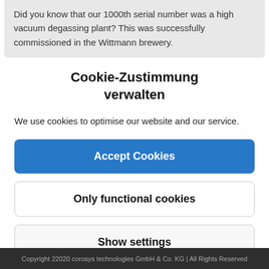Did you know that our 1000th serial number was a high vacuum degassing plant? This was successfully commissioned in the Wittmann brewery.
Cookie-Zustimmung verwalten
We use cookies to optimise our website and our service.
Accept Cookies
Only functional cookies
Show settings
Copyright 22020 corosys technologies GmbH & Co. KG | All Rights Reserved